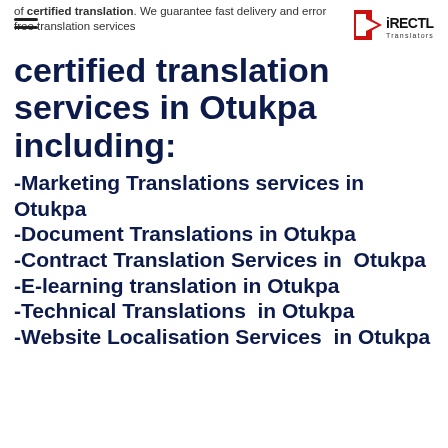of certified translation. We guarantee fast delivery and error free translation services
certified translation services in Otukpa including:
-Marketing Translations services in Otukpa
-Document Translations in Otukpa
-Contract Translation Services in  Otukpa
-E-learning translation in Otukpa
-Technical Translations  in Otukpa
-Website Localisation Services  in Otukpa